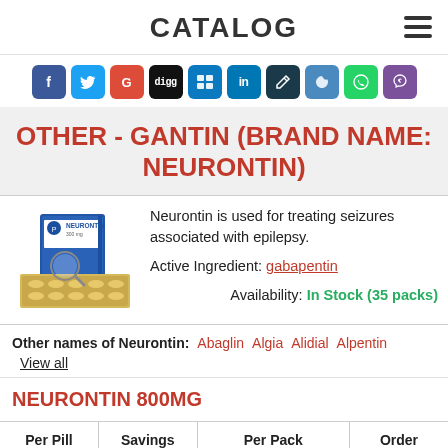CATALOG
[Figure (infographic): Social media share icons: Facebook, Twitter, Google+, Digg, Delicious, LinkedIn, pen icon, bird icon, WhatsApp, Viber]
OTHER - GANTIN (BRAND NAME: NEURONTIN)
[Figure (photo): Neurontin 300mg product box and blister pack of capsules]
Neurontin is used for treating seizures associated with epilepsy.
Active Ingredient: gabapentin
Availability: In Stock (35 packs)
Other names of Neurontin: Abaglin  Algia  Alidial  Alpentin  View all
NEURONTIN 800MG
| Per Pill | Savings | Per Pack | Order |
| --- | --- | --- | --- |